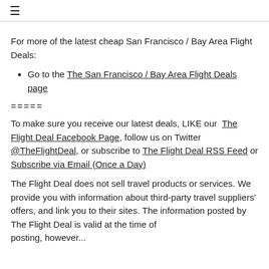☰
For more of the latest cheap San Francisco / Bay Area Flight Deals:
Go to the The San Francisco / Bay Area Flight Deals page
=====
To make sure you receive our latest deals, LIKE our The Flight Deal Facebook Page, follow us on Twitter @TheFlightDeal, or subscribe to The Flight Deal RSS Feed or Subscribe via Email (Once a Day)
The Flight Deal does not sell travel products or services. We provide you with information about third-party travel suppliers' offers, and link you to their sites. The information posted by The Flight Deal is valid at the time of posting, however...